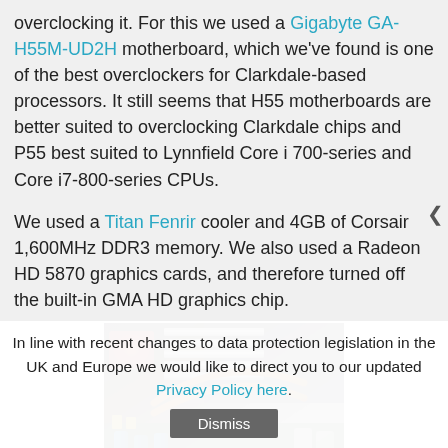overclocking it. For this we used a Gigabyte GA-H55M-UD2H motherboard, which we've found is one of the best overclockers for Clarkdale-based processors. It still seems that H55 motherboards are better suited to overclocking Clarkdale chips and P55 best suited to Lynnfield Core i 700-series and Core i7-800-series CPUs.
We used a Titan Fenrir cooler and 4GB of Corsair 1,600MHz DDR3 memory. We also used a Radeon HD 5870 graphics cards, and therefore turned off the built-in GMA HD graphics chip.
[Figure (photo): Close-up photo of computer hardware components including a CPU cooler, motherboard, and graphics card]
In line with recent changes to data protection legislation in the UK and Europe we would like to direct you to our updated Privacy Policy here.
Dismiss